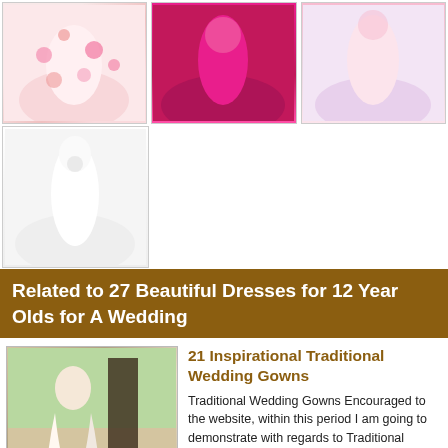[Figure (photo): Floral print ball gown dress for girl]
[Figure (photo): Hot pink/magenta ball gown dress]
[Figure (photo): Light pink ball gown dress]
[Figure (photo): White flower girl ball gown dress]
Related to 27 Beautiful Dresses for 12 Year Olds for A Wedding
[Figure (photo): Bride in traditional wedding gown outdoors]
21 Inspirational Traditional Wedding Gowns
Traditional Wedding Gowns Encouraged to the website, within this period I am going to demonstrate with regards to Traditional Wedding Gowns . And from now on, this is actually the primary graphic. Why not consider photograph over? will be that...